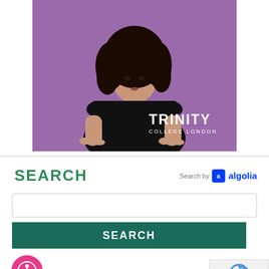[Figure (photo): A young woman with curly hair wearing a black t-shirt, gesturing with both hands against a purple/violet background. Trinity College London logo (white text) is overlaid in the lower right of the image.]
SEARCH
Search by algolia
[Figure (screenshot): A search input text box (empty)]
SEARCH